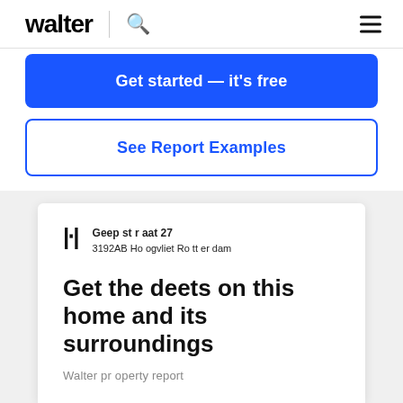walter
Get started — it's free
See Report Examples
[Figure (screenshot): Walter property report preview card showing address 'Geepstraat 27, 3192AB Hoogvliet Rotterdam' with heading 'Get the deets on this home and its surroundings' and subtitle 'Walter property report']